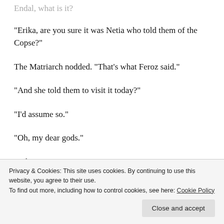Endal, what is it?
“Erika, are you sure it was Netia who told them of the Copse?”
The Matriarch nodded. “That’s what Feroz said.”
“And she told them to visit it today?”
“I’d assume so.”
“Oh, my dear gods.”
“What is it?”
What? Why?
Privacy & Cookies: This site uses cookies. By continuing to use this website, you agree to their use.
To find out more, including how to control cookies, see here: Cookie Policy
Close and accept